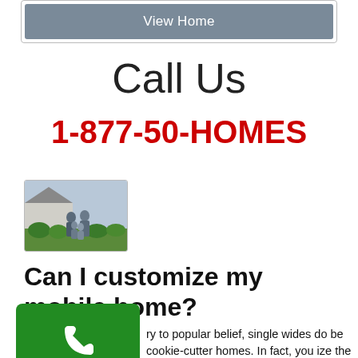[Figure (other): Gray 'View Home' button]
Call Us
1-877-50-HOMES
[Figure (photo): Family of four standing in front of a house with green shrubs]
Can I customize my mobile home?
[Figure (other): Green phone call button with handset icon and label 'Us']
ry to popular belief, single wides do be cookie-cutter homes. In fact, you ize the details of your mobile home.